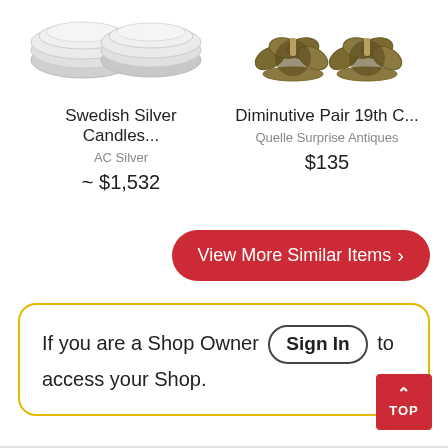[Figure (photo): Swedish silver candlesticks product image (silver colored round candle holders)]
[Figure (photo): Diminutive Pair 19th C candle holders product image (gold/brass flower-shaped candle holders)]
Swedish Silver Candles...
AC Silver
~ $1,532
Diminutive Pair 19th C...
Quelle Surprise Antiques
$135
View More Similar Items >
If you are a Shop Owner Sign In to access your Shop.